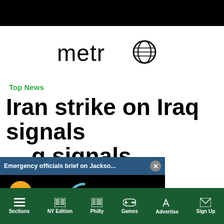[Figure (logo): Metro news website logo with globe icon replacing the letter 'o']
Top News
Iran strike on Iraq signals ... q signals ... lies in ... experts
[Figure (screenshot): Video overlay popup with blue title bar reading 'Emergency officials brief on Jackso...' and close button, black video frame with orange mute button and teal loading spinner]
ents   Posted on March 14, 2022
Sections   NY Edition   Philly   Games   Advertise   Sign Up